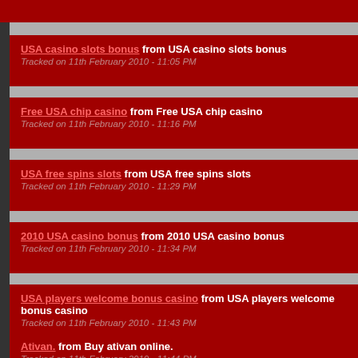USA casino slots bonus from USA casino slots bonus
Tracked on 11th February 2010 - 11:05 PM
Free USA chip casino from Free USA chip casino
Tracked on 11th February 2010 - 11:16 PM
USA free spins slots from USA free spins slots
Tracked on 11th February 2010 - 11:29 PM
2010 USA casino bonus from 2010 USA casino bonus
Tracked on 11th February 2010 - 11:34 PM
USA players welcome bonus casino from USA players welcome bonus casino
Tracked on 11th February 2010 - 11:43 PM
Ativan. from Buy ativan online.
Tracked on 11th February 2010 - 11:44 PM